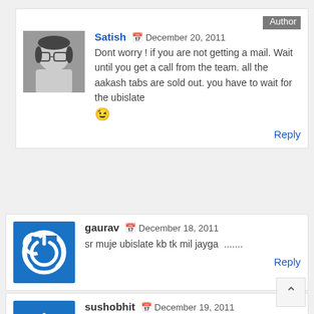Satish  December 20, 2011 — Author — Dont worry ! if you are not getting a mail. Wait until you get a call from the team. all the aakash tabs are sold out. you have to wait for the ubislate 😉 Reply
gaurav  December 18, 2011 — sr muje ubislate kb tk mil jayga ……. Reply
sushobhit  December 19, 2011 — please answer me !